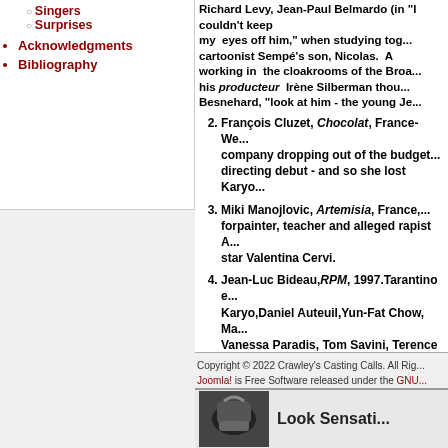Singers
Surprises
Acknowledgments
Bibliography
Richard Levy, Jean-Paul Belmondo ("I couldn't keep my eyes off him," when studying together...) cartoonist Sempé's son, Nicolas. A working in the cloakrooms of the Broa... his producteur Irène Silberman thou... Besnehard, "look at him - the young Je...
François Cluzet, Chocolat, France-We... company dropping out of the budget... directing debut - and so she lost Karyo...
Miki Manojlovic, Artemisia, France,... forpainter, teacher and alleged rapist A... star Valentina Cervi.
Jean-Luc Bideau, RPM, 1997. Tarantino e... Karyo, Daniel Auteuil, Yun-Fat Chow, Ma... Vanessa Paradis, Tom Savini, Terence S... Hugues Anglade and Eric Stoltz. Hethe... hired Ian Sharp "and the two guys who... script."Actually, Donald Cammell (usin... out in the year before he died. Avary ren...
Copyright © 2022 Crawley's Casting Calls. All Rights Reserved. Joomla! is Free Software released under the GNU...